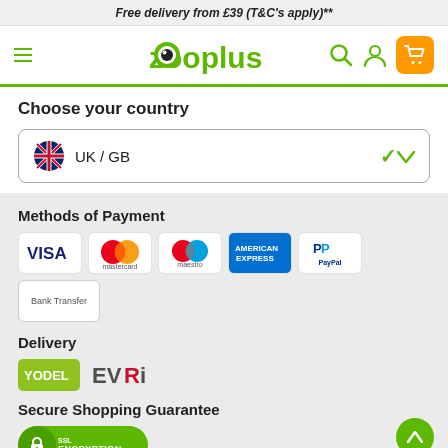Free delivery from £39 (T&C's apply)**
[Figure (logo): Zooplus logo with hamburger menu, search icon, user icon, and shopping cart]
Choose your country
UK / GB
Methods of Payment
[Figure (infographic): Payment method logos: VISA, Mastercard, Maestro, American Express, PayPal, Bank Transfer]
Delivery
[Figure (infographic): Delivery logos: Yodel, EVRi]
Secure Shopping Guarantee
[Figure (infographic): SSL Encryption badge]